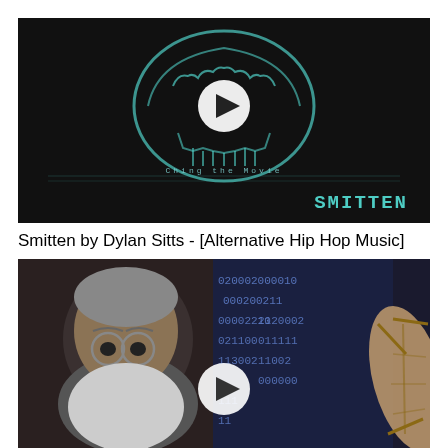[Figure (screenshot): Video thumbnail with dark background showing a teal skull/eye logo graphic with a white play button in the center, text 'Ching the Movie' and 'SMITTEN' in teal at the bottom right]
Smitten by Dylan Sitts - [Alternative Hip Hop Music]
[Figure (screenshot): Video thumbnail showing an elderly bearded man with round glasses on the left side, a background of binary/digital number patterns in blue, and a satellite dish on the right, with a white play button overlay in the center]